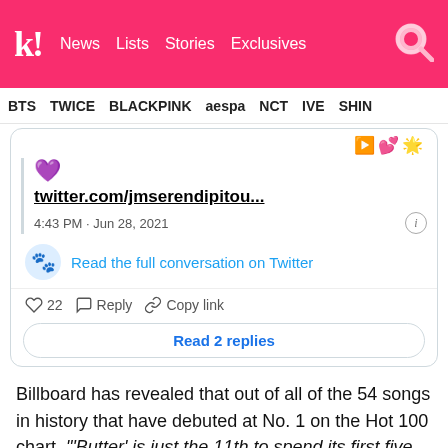k! News Lists Stories Exclusives
BTS TWICE BLACKPINK aespa NCT IVE SHIN...
[Figure (screenshot): Embedded tweet showing twitter.com/jmserendipitou... link, timestamp 4:43 PM · Jun 28, 2021, avatar, Read the full conversation on Twitter, like count 22, Reply, Copy link, Read 2 replies button]
Billboard has revealed that out of all of the 54 songs in history that have debuted at No. 1 on the Hot 100 chart, "'Butter' is just the 11th to spend its first five weeks at No. 1." Besides that,